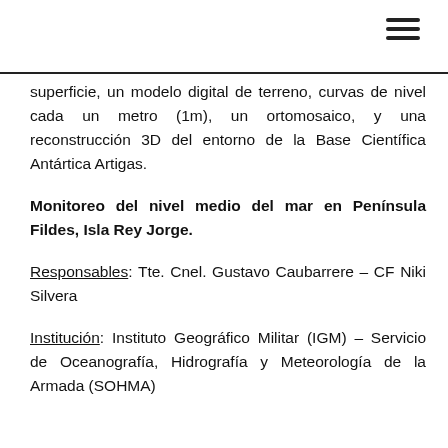≡
superficie, un modelo digital de terreno, curvas de nivel cada un metro (1m), un ortomosaico, y una reconstrucción 3D del entorno de la Base Científica Antártica Artigas.
Monitoreo del nivel medio del mar en Península Fildes, Isla Rey Jorge.
Responsables: Tte. Cnel. Gustavo Caubarrere – CF Niki Silvera
Institución: Instituto Geográfico Militar (IGM) – Servicio de Oceanografía, Hidrografía y Meteorología de la Armada (SOHMA)